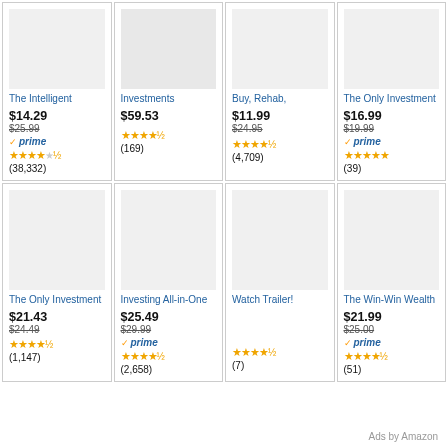The Intelligent
Investments
Buy, Rehab,
The Only Investment
The Only Investment
Investing All-in-One
Watch Trailer!
The Win-Win Wealth
Ads by Amazon